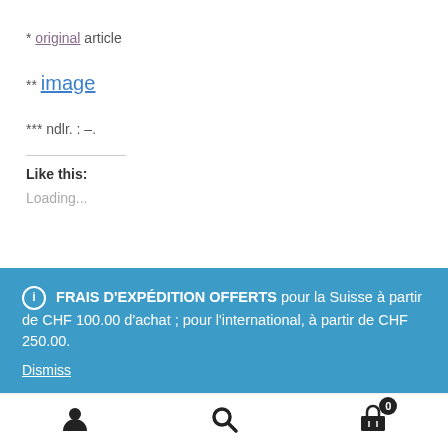* original article
** image
*** ndlr. : –.
Like this:
Loading...
ℹ FRAIS D'EXPÉDITION OFFERTS pour la Suisse à partir de CHF 100.00 d'achat ; pour l'international, à partir de CHF 250.00.
Dismiss